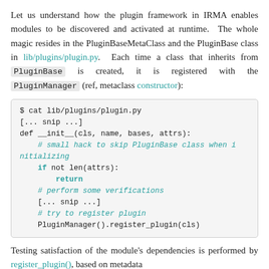Let us understand how the plugin framework in IRMA enables modules to be discovered and activated at runtime. The whole magic resides in the PluginBaseMetaClass and the PluginBase class in lib/plugins/plugin.py. Each time a class that inherits from PluginBase is created, it is registered with the PluginManager (ref, metaclass constructor):
[Figure (screenshot): Code block showing Python code: $ cat lib/plugins/plugin.py, [...snip ...], def __init__(cls, name, bases, attrs):, # small hack to skip PluginBase class when initializing, if not len(attrs):, return, # perform some verifications, [... snip ...], # try to register plugin, PluginManager().register_plugin(cls)]
Testing satisfaction of the module's dependencies is performed by register_plugin(), based on metadata